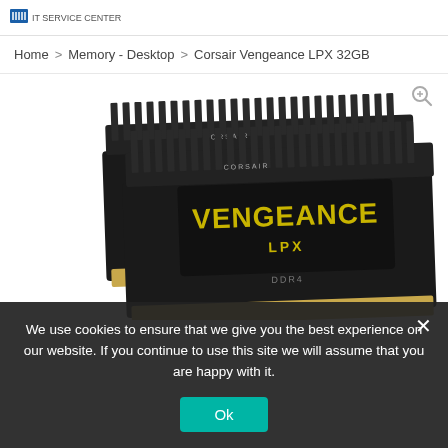IT Service Center
Home > Memory - Desktop > Corsair Vengeance LPX 32GB
[Figure (photo): Two Corsair Vengeance LPX DDR4 RAM sticks in black with yellow VENGEANCE LPX text, shown at an angle stacked behind each other]
We use cookies to ensure that we give you the best experience on our website. If you continue to use this site we will assume that you are happy with it.